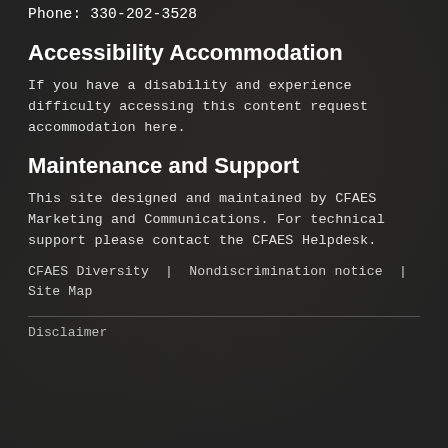Phone: 330-202-3528
Accessibility Accommodation
If you have a disability and experience difficulty accessing this content request accommodation here.
Maintenance and Support
This site designed and maintained by CFAES Marketing and Communications. For technical support please contact the CFAES Helpdesk.
CFAES Diversity | Nondiscrimination notice | Site Map
Disclaimer